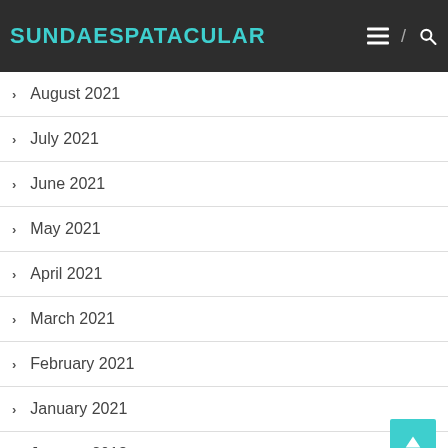SUNDAESPATACULAR
August 2021
July 2021
June 2021
May 2021
April 2021
March 2021
February 2021
January 2021
January 2018